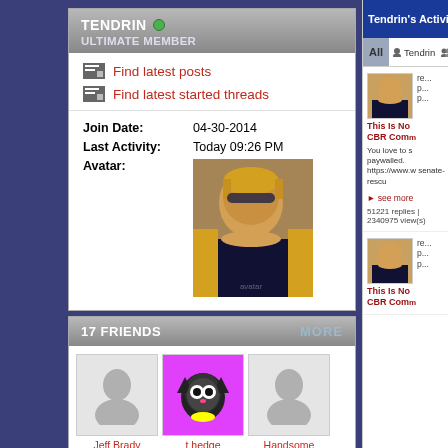TENDRIN • ULTIMATE MEMBER
Find latest posts
Find latest started threads
Join Date: 04-30-2014
Last Activity: Today 09:26 PM
Avatar:
17 FRIENDS MORE
Jeff Brady | t hedge coke | Handsome men don't
Tendrin's Activity | Ab
All | Tendrin | Frien...
This Is No CBR Comm
You love to s paywalled. https://www.w senate-rescu
see more
51221 replies | 2340975 view(s)
This Is No CBR Comm